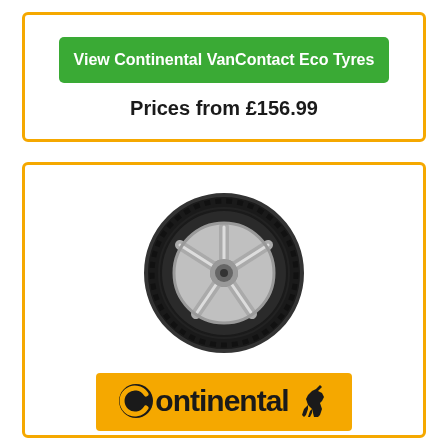View Continental VanContact Eco Tyres
Prices from £156.99
[Figure (photo): Continental VanContact Ultra tyre with silver alloy wheel]
[Figure (logo): Continental brand logo on orange/amber background with horse icon]
VanContact Ultra